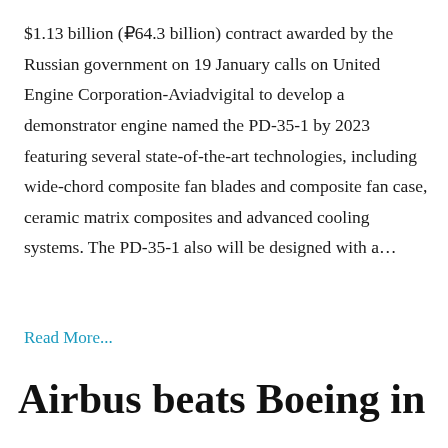$1.13 billion (₽64.3 billion) contract awarded by the Russian government on 19 January calls on United Engine Corporation-Aviadvigital to develop a demonstrator engine named the PD-35-1 by 2023 featuring several state-of-the-art technologies, including wide-chord composite fan blades and composite fan case, ceramic matrix composites and advanced cooling systems. The PD-35-1 also will be designed with a…
Read More...
Airbus beats Boeing in